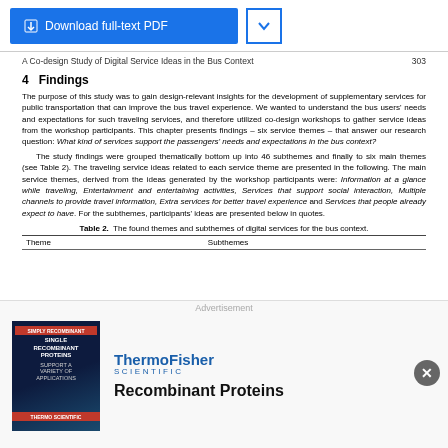[Figure (screenshot): Download full-text PDF button with blue background and chevron dropdown button]
A Co-design Study of Digital Service Ideas in the Bus Context    303
4   Findings
The purpose of this study was to gain design-relevant insights for the development of supplementary services for public transportation that can improve the bus travel experience. We wanted to understand the bus users' needs and expectations for such traveling services, and therefore utilized co-design workshops to gather service ideas from the workshop participants. This chapter presents findings – six service themes – that answer our research question: What kind of services support the passengers' needs and expectations in the bus context?
    The study findings were grouped thematically bottom up into 46 subthemes and finally to six main themes (see Table 2). The traveling service ideas related to each service theme are presented in the following. The main service themes, derived from the ideas generated by the workshop participants were: Information at a glance while traveling, Entertainment and entertaining activities, Services that support social interaction, Multiple channels to provide travel information, Extra services for better travel experience and Services that people already expect to have. For the subthemes, participants' ideas are presented below in quotes.
Table 2.  The found themes and subthemes of digital services for the bus context.
| Theme | Subthemes |
| --- | --- |
[Figure (other): Advertisement overlay: Thermo Fisher Scientific - Recombinant Proteins]